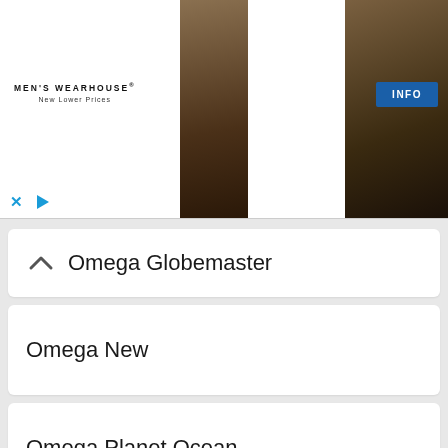[Figure (photo): Men's Wearhouse advertisement banner showing a couple in formal wear, a man in a suit to the right, and an INFO button. X and play controls at bottom left.]
Omega Globemaster
Omega New
Omega Planet Ocean
Omega Seamaster
Omega Speedmaster
Oris